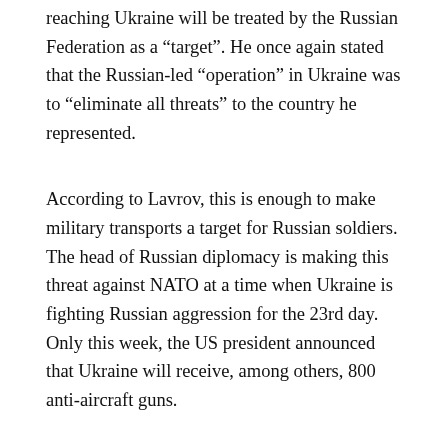reaching Ukraine will be treated by the Russian Federation as a “target”. He once again stated that the Russian-led “operation” in Ukraine was to “eliminate all threats” to the country he represented.
According to Lavrov, this is enough to make military transports a target for Russian soldiers. The head of Russian diplomacy is making this threat against NATO at a time when Ukraine is fighting Russian aggression for the 23rd day. Only this week, the US president announced that Ukraine will receive, among others, 800 anti-aircraft guns.
This is not a “special operation”, it’s a genocide
Russian politicians maintain that there is no war in Ukraine, but only a “military special operation” to liberate the eastern parts of the country and protect the people there. It’s just that